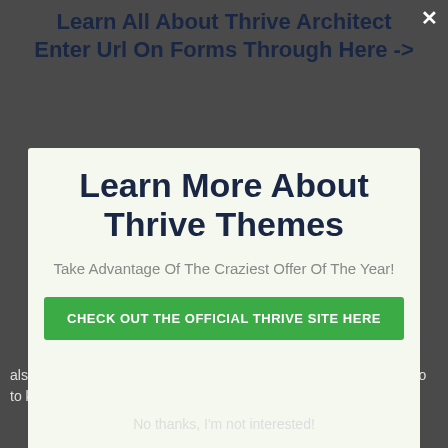Learn All About Thrive Architect Enter Url On Forms Through Here ->
[Figure (screenshot): Modal popup dialog with light green background containing title 'Learn More About Thrive Themes', subtitle 'Take Advantage Of The Craziest Offer Of The Year!', and a green button 'CHECK OUT THE OFFICIAL THRIVE SITE HERE']
also want to divide examination how well their internal headlines do to keep visitors on the site.
No thanks, I'm not interested!